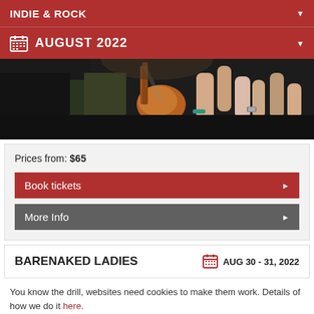INDIE & ROCK
AUGUST 2022
[Figure (photo): Concert photo showing a guitarist with an orange bass guitar and crowd with raised hands]
Prices from: $65
Book tickets
More Info
BARENAKED LADIES
AUG 30 - 31, 2022
You know the drill, websites need cookies to make them work. Details of how we do it here.
Got it!